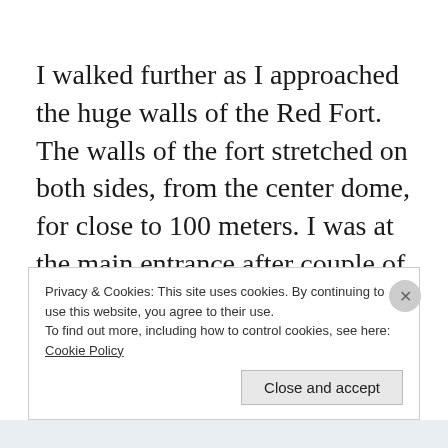I walked further as I approached the huge walls of the Red Fort. The walls of the fort stretched on both sides, from the center dome, for close to 100 meters. I was at the main entrance after couple of minutes and there in my sight was one of the most historic monuments of India. A large structure that was built completely in red stone, A central complex area with high,
Privacy & Cookies: This site uses cookies. By continuing to use this website, you agree to their use.
To find out more, including how to control cookies, see here: Cookie Policy
Close and accept